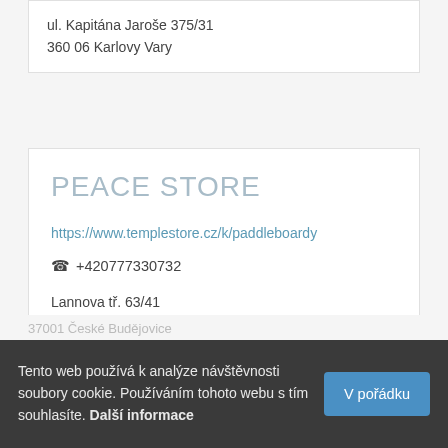ul. Kapitána Jaroše 375/31
360 06 Karlovy Vary
PEACE STORE
https://www.templestore.cz/k/paddleboardy
+420777330732
Lannova tř. 63/41
37001 České Budějovice
Tento web používá k analýze návštěvnosti soubory cookie. Používáním tohoto webu s tím souhlasíte. Další informace